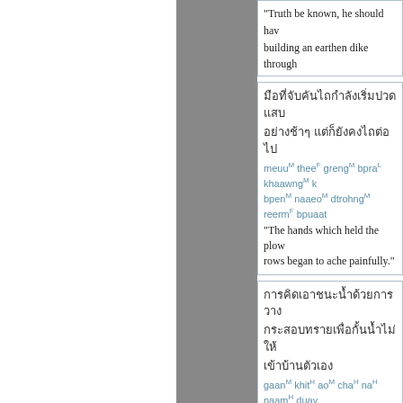"Truth be known, he should have building an earthen dike through
Thai text block 1 with romanization: meuu^M thee^F greng^M bpra^L khaawng^M ... bpen^M naaeo^M dtrohng^M reerm^F bpuaat "The hands which held the plow rows began to ache painfully."
Thai text block 2 with romanization: gaan^M khit^H ao^M cha^H na^H naam^H duay gaaw^F mai^F dtaang^L jaak^L gaan^M kha^L ... baan^F khaawng^R dtuaa^M aehng^M "Thinking to overpower the water from taking the sandbags that p..."
Thai text block 3 (partial)